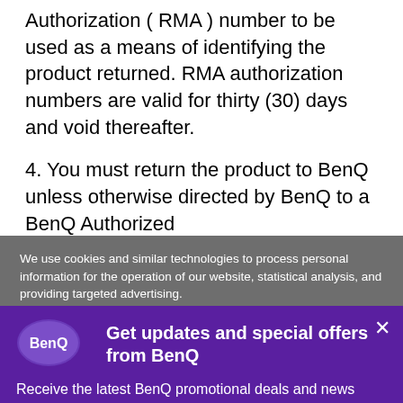Authorization ( RMA ) number to be used as a means of identifying the product returned. RMA authorization numbers are valid for thirty (30) days and void thereafter.
4. You must return the product to BenQ unless otherwise directed by BenQ to a BenQ Authorized
We use cookies and similar technologies to process personal information for the operation of our website, statistical analysis, and providing targeted advertising.
[Figure (logo): BenQ logo — white text on purple oval background]
Get updates and special offers from BenQ
Receive the latest BenQ promotional deals and news directly to your inbox.
Subscribe now